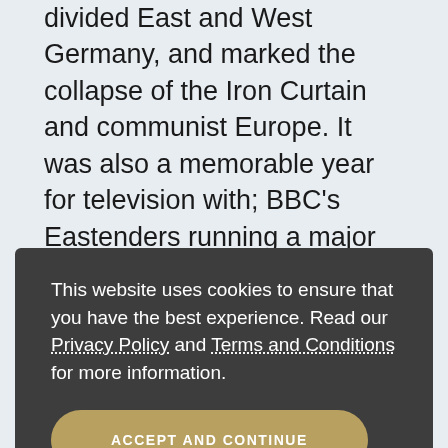1989 saw the fall of the Berlin Wall, which had divided East and West Germany, and marked the collapse of the Iron Curtain and communist Europe. It was also a memorable year for television with; BBC's Eastenders running a major storyline on the shooting of 'Dirty Den' and ITV broadcast the first episode of new soap, Home and Away. 1989 also witnessed; Princess Diana perform the opening ceremony for the Landmark Aids Centre in London shaking hands with AIDS victims, and Nintendo launching its first Gameboy. This Royal Mint
This website uses cookies to ensure that you have the best experience. Read our Privacy Policy and Terms and Conditions for more information.
ACCEPT AND CONTINUE
bullions coins and handled carefully to avoid